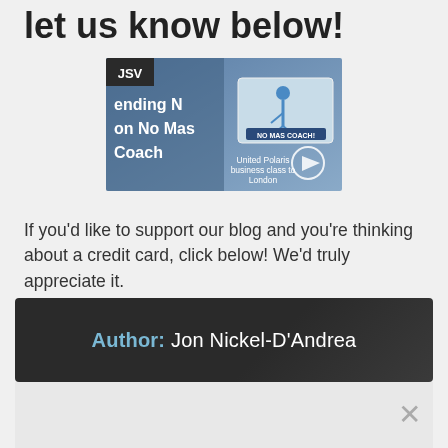let us know below!
[Figure (screenshot): Video thumbnail showing 'Spending No Money on No Mas Coach' with JSV logo, United Polaris business class to London, and a play button icon.]
If you'd like to support our blog and you're thinking about a credit card, click below! We'd truly appreciate it.
Author: Jon Nickel-D'Andrea